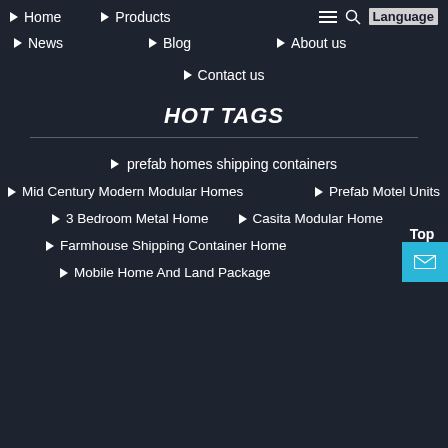Home
Products
News
Blog
About us
Contact us
HOT TAGS
prefab homes shipping containers
Mid Century Modern Modular Homes
Prefab Motel Units
3 Bedroom Metal Home
Casita Modular Home
Farmhouse Shipping Container Home
Mobile Home And Land Package